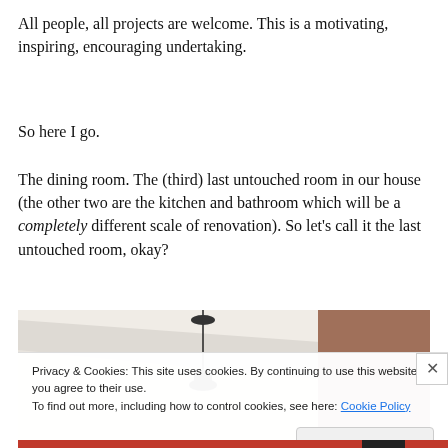All people, all projects are welcome. This is a motivating, inspiring, encouraging undertaking.
So here I go.
The dining room. The (third) last untouched room in our house (the other two are the kitchen and bathroom which will be a completely different scale of renovation). So let’s call it the last untouched room, okay?
[Figure (photo): Partial view of a ceiling with a hanging light fixture, light beige/white tones with a brown accent on the right side.]
Privacy & Cookies: This site uses cookies. By continuing to use this website, you agree to their use.
To find out more, including how to control cookies, see here: Cookie Policy
Close and accept